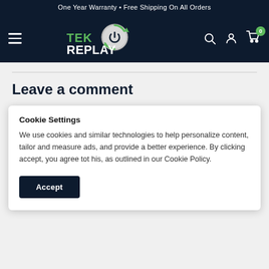One Year Warranty • Free Shipping On All Orders
[Figure (logo): Tek Replay logo with green circular arrow and power button icon, white and green text on dark navy background, with hamburger menu, search, account, and cart icons]
Leave a comment
All comments are moderated before being published
Cookie Settings
We use cookies and similar technologies to help personalize content, tailor and measure ads, and provide a better experience. By clicking accept, you agree tot his, as outlined in our Cookie Policy.
Accept